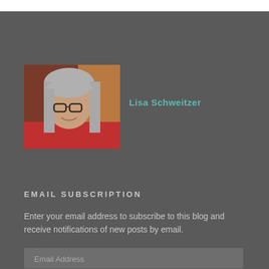[Figure (photo): Portrait photo of Lisa Schweitzer, a woman with long gray hair and glasses, wearing a red top, against a wooden background.]
Lisa Schweitzer
EMAIL SUBSCRIPTION
Enter your email address to subscribe to this blog and receive notifications of new posts by email.
Email Address